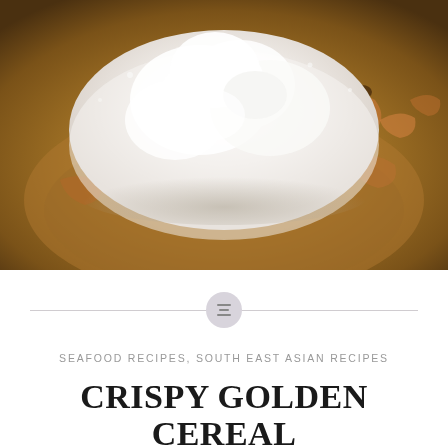[Figure (photo): Close-up photo of raw prawns/shrimp covered in a large mound of white flour/cornstarch in a bowl, with a golden-brown background]
SEAFOOD RECIPES, SOUTH EAST ASIAN RECIPES
CRISPY GOLDEN CEREAL BUTTER PRAWNS